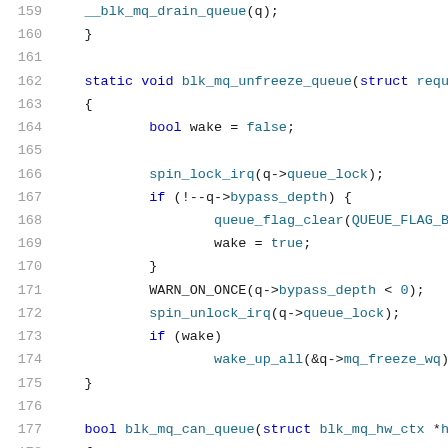[Figure (screenshot): Source code listing in C showing lines 159-180 of a Linux kernel block multiqueue driver file. Lines show functions blk_mq_unfreeze_queue and blk_mq_can_queue with syntax highlighting. Line numbers in gray on left, keywords in dark blue, identifiers/function calls in teal/blue.]